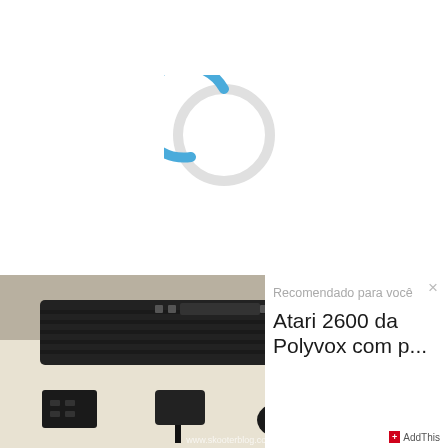[Figure (other): A circular loading spinner / progress indicator with a blue arc on the upper-left portion and a light grey arc completing the circle, shown on a white background.]
[Figure (photo): A photograph of an Atari 2600 game console (black, ribbed casing) on a light wooden surface, accompanied by a joystick controller with red button, a power adapter, a cartridge, and cables. Watermark reads www.skooterblog.com.]
Recomendado para você
Atari 2600 da Polyvox com p...
AddThis